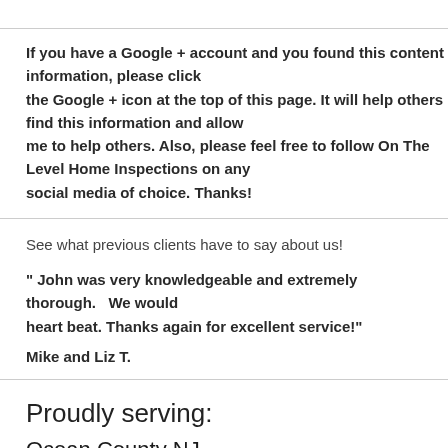If you have a Google + account and you found this content informative, please click the Google + icon at the top of this page. It will help others find this information and allow me to help others. Also, please feel free to follow On The Level Home Inspections on any social media of choice. Thanks!
See what previous clients have to say about us!
" John was very knowledgeable and extremely thorough.   We would recommend without a heart beat. Thanks again for excellent service!"
Mike and Liz T.
Proudly serving:
Ocean County NJ